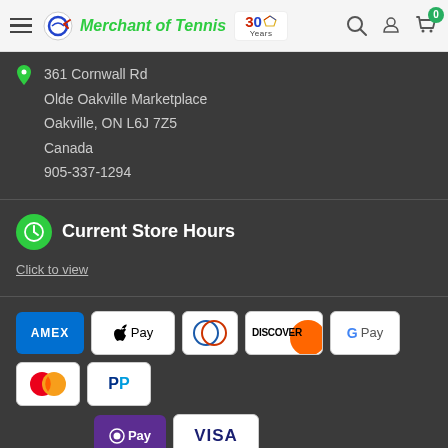Merchant of Tennis — 30 Years
361 Cornwall Rd
Olde Oakville Marketplace
Oakville, ON L6J 7Z5
Canada
905-337-1294
Current Store Hours
Click to view
[Figure (logo): Payment method logos: AMEX, Apple Pay, Diners Club, Discover, Google Pay, Mastercard, PayPal, OPay, VISA]
All Prices are in Canadian Currency
About Us